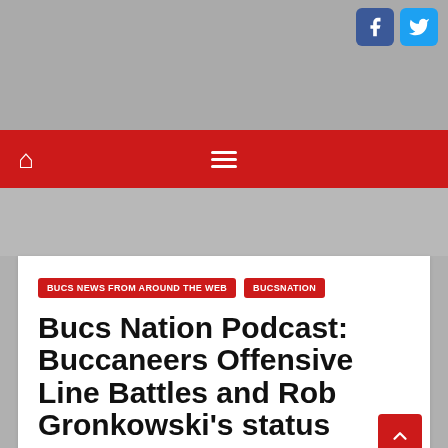[Figure (screenshot): Top grey navigation bar with Facebook and Twitter social media icon buttons in top right corner]
BUCS NEWS FROM AROUND THE WEB   BUCSNATION
Bucs Nation Podcast: Buccaneers Offensive Line Battles and Rob Gronkowski's status